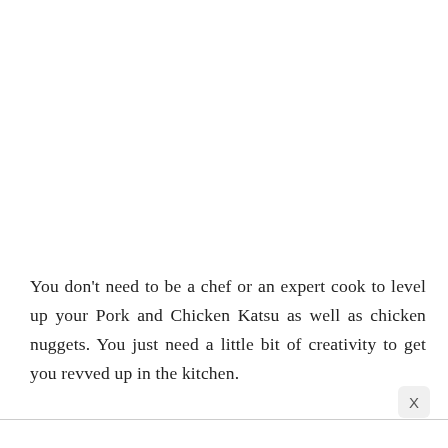You don't need to be a chef or an expert cook to level up your Pork and Chicken Katsu as well as chicken nuggets. You just need a little bit of creativity to get you revved up in the kitchen.